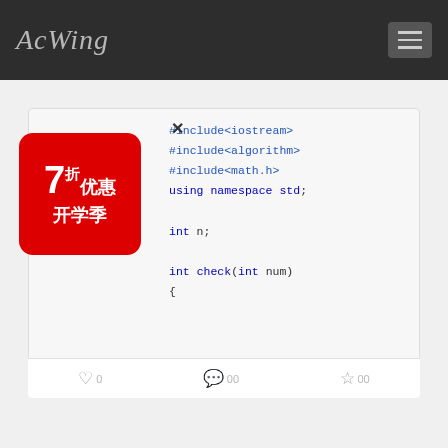AcWing
[Figure (screenshot): AcWing website screenshot showing a code editor with C++ code including #include<iostream>, #include<algorithm>, #include<math.h>, using namespace std;, int n;, int check(int num), {. A red promotional badge shows 7折优惠 开学季. Below there is an expand icon and an action bar with like, comment, and star icons. A loading spinner appears in a second card below.]